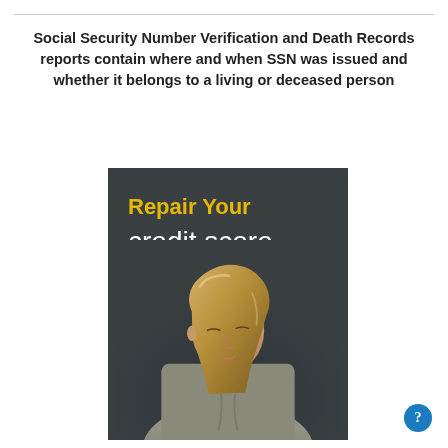Social Security Number Verification and Death Records reports contain where and when SSN was issued and whether it belongs to a living or deceased person
[Figure (illustration): A dark-background promotional card reading 'Repair Your credit score' with an image of a blonde woman in a blazer looking down, writing or reading]